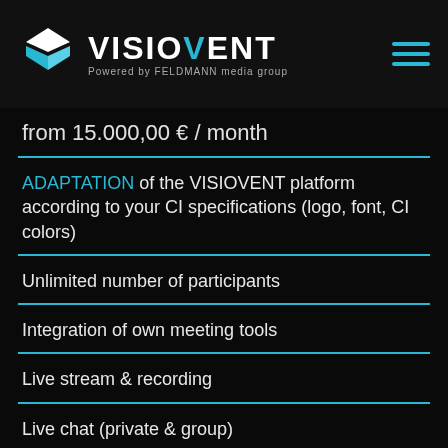VISIOVENT — Powered by FELDMANN media group
from 15.000,00 € / month
ADAPTATION of the VISIOVENT platform according to your CI specifications (logo, font, CI colors)
Unlimited number of participants
Integration of own meeting tools
Live stream & recording
Live chat (private & group)